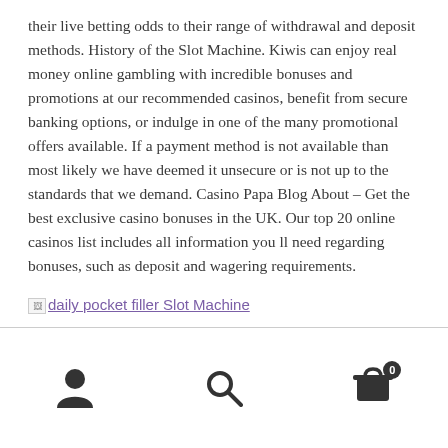their live betting odds to their range of withdrawal and deposit methods. History of the Slot Machine. Kiwis can enjoy real money online gambling with incredible bonuses and promotions at our recommended casinos, benefit from secure banking options, or indulge in one of the many promotional offers available. If a payment method is not available than most likely we have deemed it unsecure or is not up to the standards that we demand. Casino Papa Blog About – Get the best exclusive casino bonuses in the UK. Our top 20 online casinos list includes all information you ll need regarding bonuses, such as deposit and wagering requirements.
[Figure (other): Broken image placeholder with link text 'daily pocket filler Slot Machine']
Navigation bar with person icon, search icon, and cart icon with badge showing 0